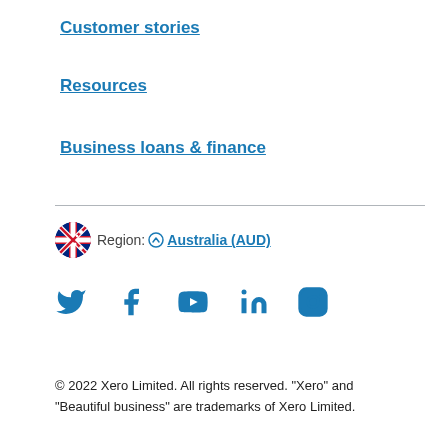Customer stories
Resources
Business loans & finance
Region: Australia (AUD)
[Figure (infographic): Social media icons: Twitter, Facebook, YouTube, LinkedIn, Instagram]
© 2022 Xero Limited. All rights reserved. "Xero" and "Beautiful business" are trademarks of Xero Limited.